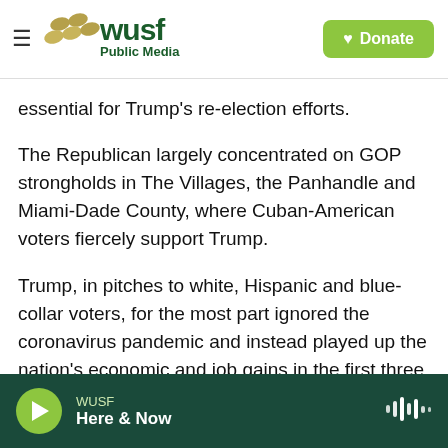WUSF Public Media — Donate
essential for Trump's re-election efforts.
The Republican largely concentrated on GOP strongholds in The Villages, the Panhandle and Miami-Dade County, where Cuban-American voters fiercely support Trump.
Trump, in pitches to white, Hispanic and blue-collar voters, for the most part ignored the coronavirus pandemic and instead played up the nation's economic and job gains in the first three years of his tenure as president.
WUSF — Here & Now